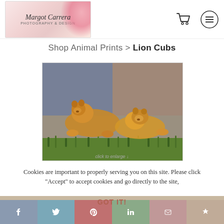Margot Carrera Photography & Design
Shop Animal Prints > Lion Cubs
[Figure (photo): Two lion cubs resting on stone steps with green grass below and stone wall behind them]
click to enlarge
Cookies are important to properly serving you on this site. Please click "Accept" to accept cookies and go directly to the site,
GOT IT!